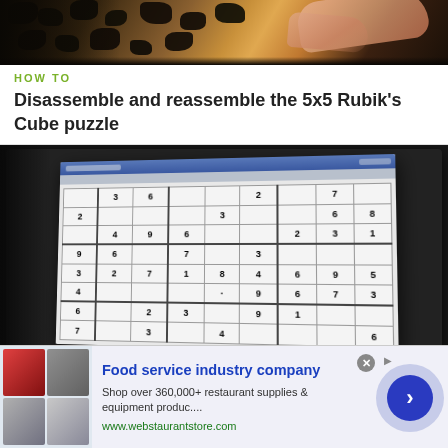[Figure (photo): Hands sorting or assembling dark puzzle/game pieces on a wooden surface, viewed from above]
HOW TO
Disassemble and reassemble the 5x5 Rubik's Cube puzzle
[Figure (photo): A Sudoku puzzle displayed on a computer monitor screen, showing a partially filled 9x9 grid with numbers]
HOW TO
[Figure (other): Advertisement for Food service industry company - webstaurantstore.com with product images and a blue arrow button]